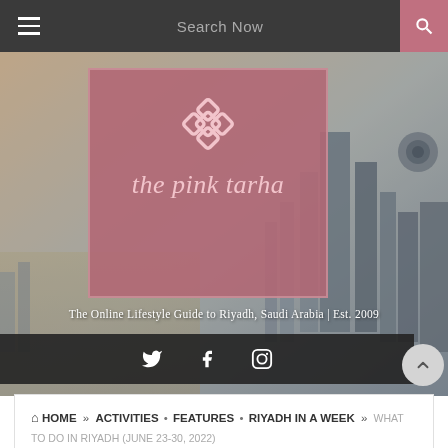Search Now | [hamburger menu] [search icon]
[Figure (screenshot): Website header for 'the pink tarha' - a lifestyle blog. Hero image shows Riyadh city skyline in the background. A pink/mauve overlay box displays a geometric diamond-shaped logo icon and the cursive text 'the pink tarha'. Below reads 'The Online Lifestyle Guide to Riyadh, Saudi Arabia | Est. 2009'. A dark social media bar with Twitter, Facebook, and Instagram icons appears at the bottom of the hero.]
The Online Lifestyle Guide to Riyadh, Saudi Arabia | Est. 2009
HOME » ACTIVITIES • FEATURES • RIYADH IN A WEEK » WHAT TO DO IN RIYADH (JUNE 23-30, 2022)